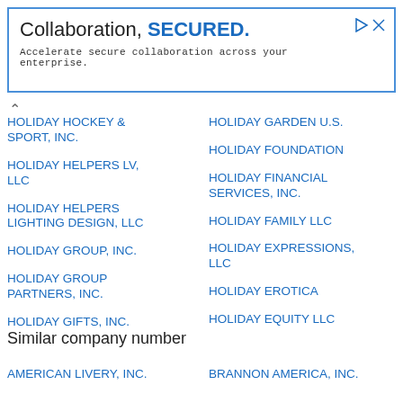[Figure (other): Advertisement banner: 'Collaboration, SECURED. Accelerate secure collaboration across your enterprise.' with blue border and play/close icons.]
HOLIDAY HOCKEY & SPORT, INC.
HOLIDAY HELPERS LV, LLC
HOLIDAY HELPERS LIGHTING DESIGN, LLC
HOLIDAY GROUP, INC.
HOLIDAY GROUP PARTNERS, INC.
HOLIDAY GIFTS, INC.
HOLIDAY GARDEN U.S.
HOLIDAY FOUNDATION
HOLIDAY FINANCIAL SERVICES, INC.
HOLIDAY FAMILY LLC
HOLIDAY EXPRESSIONS, LLC
HOLIDAY EROTICA
HOLIDAY EQUITY LLC
Similar company number
AMERICAN LIVERY, INC.
BRANNON AMERICA, INC.